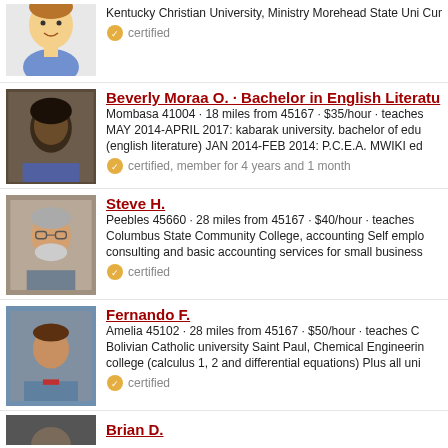[Figure (illustration): Cartoon avatar of a young male tutor with brown hair and blue shirt]
Kentucky Christian University, Ministry Morehead State Uni Cumberlands, Masters Hi guys, my name is Andrew B., and
certified
[Figure (photo): Photo of Beverly Moraa O., a woman with black hair]
Beverly Moraa O. · Bachelor in English Literatu
Mombasa 41004 · 18 miles from 45167 · $35/hour · teaches MAY 2014-APRIL 2017: kabarak university. bachelor of edu (english literature) JAN 2014-FEB 2014: P.C.E.A. MWIKI ed
certified, member for 4 years and 1 month
[Figure (photo): Photo of Steve H., an older man with glasses and a gray beard]
Steve H.
Peebles 45660 · 28 miles from 45167 · $40/hour · teaches Columbus State Community College, accounting Self emplo consulting and basic accounting services for small business
certified
[Figure (photo): Photo of Fernando F., a man in a blue/gray jacket]
Fernando F.
Amelia 45102 · 28 miles from 45167 · $50/hour · teaches C Bolivian Catholic university Saint Paul, Chemical Engineerin college (calculus 1, 2 and differential equations) Plus all uni
certified
[Figure (photo): Partial photo of Brian D. at bottom of page]
Brian D.